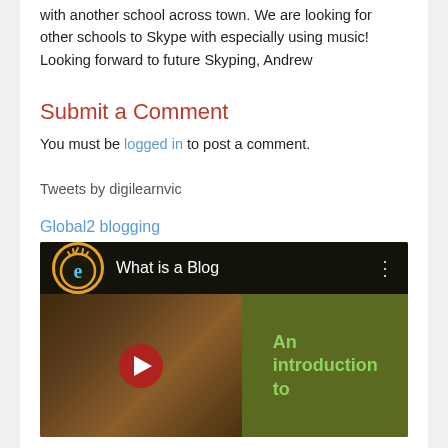with another school across town. We are looking for other schools to Skype with especially using music! Looking forward to future Skyping, Andrew
Submit a Comment
You must be logged in to post a comment.
Tweets by digilearnvic
Global2 blogging
[Figure (screenshot): YouTube video thumbnail showing 'What is a Blog' with an edublogs logo, play button, and text 'An introduction to' on a dark background]